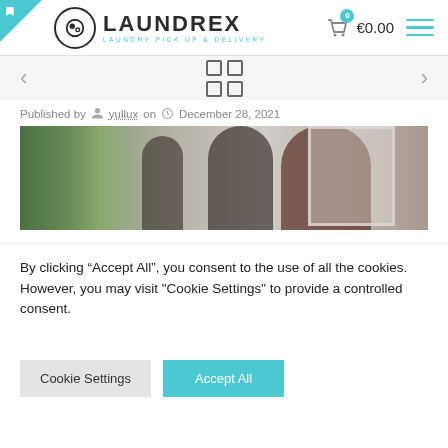[Figure (logo): Laundrex logo with circular icon and text 'LAUNDREX LAUNDRY PICK UP & DELIVERY']
[Figure (other): Shopping cart icon with 0 badge and price €0.00, hamburger menu icon]
[Figure (other): Navigation bar with left arrow, grid view icon, right arrow]
Published by yullux on December 28, 2021
[Figure (photo): Family photo showing adults and a child near a Christmas tree indoors]
By clicking “Accept All”, you consent to the use of all the cookies. However, you may visit "Cookie Settings" to provide a controlled consent.
Cookie Settings | Accept All